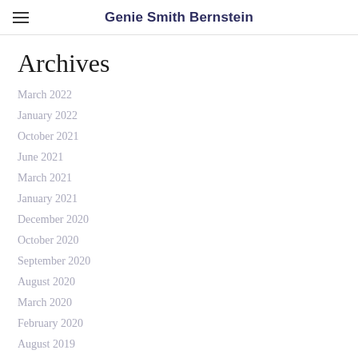Genie Smith Bernstein
Archives
March 2022
January 2022
October 2021
June 2021
March 2021
January 2021
December 2020
October 2020
September 2020
August 2020
March 2020
February 2020
August 2019
July 2019
March 2019